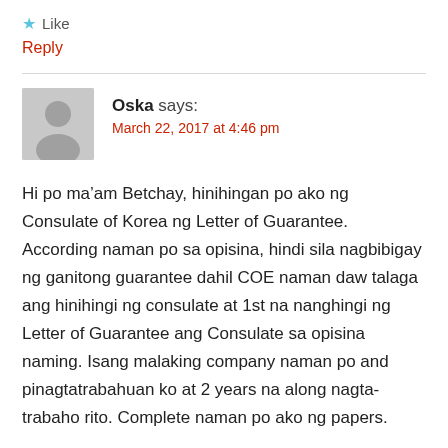★ Like
Reply
Oska says: March 22, 2017 at 4:46 pm
Hi po ma'am Betchay, hinihingan po ako ng Consulate of Korea ng Letter of Guarantee. According naman po sa opisina, hindi sila nagbibigay ng ganitong guarantee dahil COE naman daw talaga ang hinihingi ng consulate at 1st na nanghingi ng Letter of Guarantee ang Consulate sa opisina naming. Isang malaking company naman po and pinagtatrabahuan ko at 2 years na along nagta-trabaho rito. Complete naman po ako ng papers.